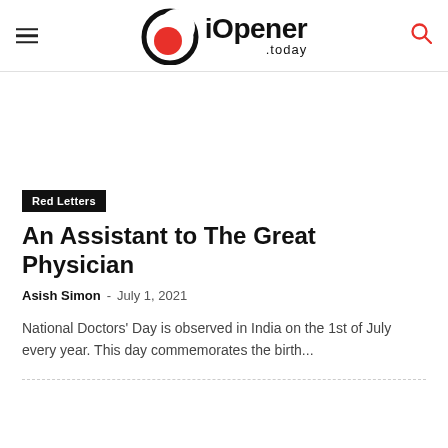iOpener .today
[Figure (logo): iOpener.today logo with circular emblem (black circle outline with red filled circle inside) and bold text 'iOpener' with '.today' subtitle]
Red Letters
An Assistant to The Great Physician
Asish Simon – July 1, 2021
National Doctors' Day is observed in India on the 1st of July every year. This day commemorates the birth...